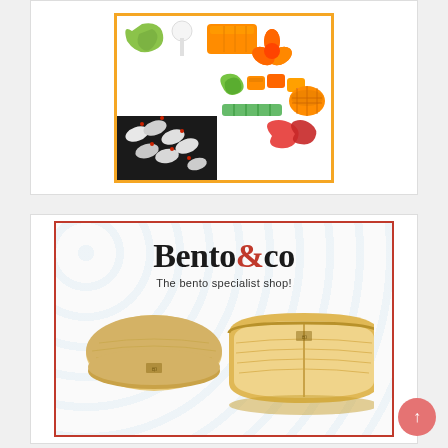[Figure (photo): Colorful bento accessories including silicone food cups in various shapes (flowers, animals, leaf), rice molds, and small dividers in green, orange, red, and white, displayed on a white background with an orange/yellow border.]
[Figure (photo): Advertisement for Bento&co - The bento specialist shop, showing two wooden magewappa bento boxes (one closed with lid, one open) on a decorative wave-pattern background. Red border frame. Logo in serif font with red ampersand.]